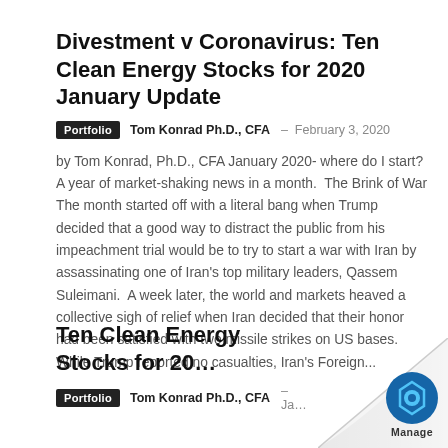Divestment v Coronavirus: Ten Clean Energy Stocks for 2020 January Update
Portfolio   Tom Konrad Ph.D., CFA  –  February 3, 2020
by Tom Konrad, Ph.D., CFA January 2020- where do I start?  A year of market-shaking news in a month.  The Brink of War The month started off with a literal bang when Trump decided that a good way to distract the public from his impeachment trial would be to try to start a war with Iran by assassinating one of Iran's top military leaders, Qassem Suleimani.  A week later, the world and markets heaved a collective sigh of relief when Iran decided that their honor had been satisfied with two missile strikes on US bases.  While Trump reported no casualties, Iran's Foreign...
Ten Clean Energy Stocks for 20…
Portfolio   Tom Konrad Ph.D., CFA  –  Ja…